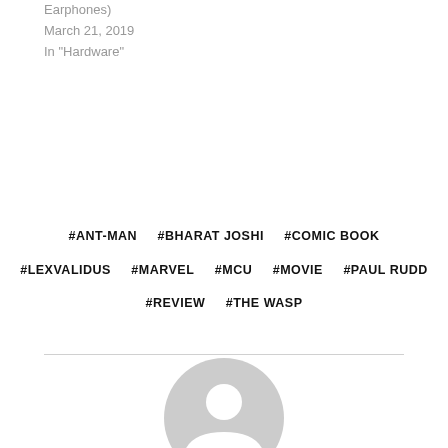Earphones)
March 21, 2019
In "Hardware"
#ANT-MAN  #BHARAT JOSHI  #COMIC BOOK  #LEXVALIDUS  #MARVEL  #MCU  #MOVIE  #PAUL RUDD  #REVIEW  #THE WASP
[Figure (illustration): Default gray user avatar icon — a circle with a stylized person silhouette (head and shoulders) in light gray]
Bharat Joshi